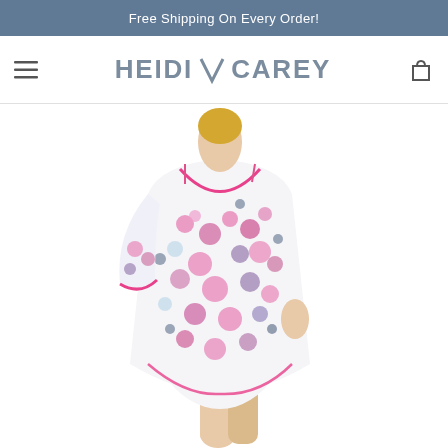Free Shipping On Every Order!
[Figure (logo): Heidi Carey brand logo with hamburger menu and shopping bag icon in navigation bar]
[Figure (photo): Side profile of a woman wearing a white floral print mini dress/tunic with pink and purple flowers, 3/4 sleeves, and pink trim detail at neckline and sleeve edges. Model is blonde, shown from shoulders to mid-thigh.]